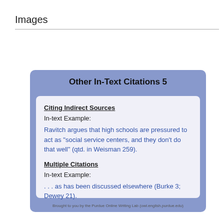Images
[Figure (screenshot): Purdue Online Writing Lab slide titled 'Other In-Text Citations 5' showing examples of citing indirect sources and multiple citations in MLA format.]
Citing Indirect Sources
In-text Example:
Ravitch argues that high schools are pressured to act as "social service centers, and they don't do that well" (qtd. in Weisman 259).
Multiple Citations
In-text Example:
. . . as has been discussed elsewhere (Burke 3; Dewey 21).
Brought to you by the Purdue Online Writing Lab (owl.english.purdue.edu)